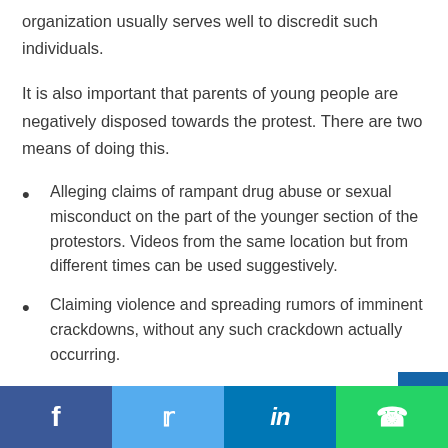organization usually serves well to discredit such individuals.
It is also important that parents of young people are negatively disposed towards the protest. There are two means of doing this.
Alleging claims of rampant drug abuse or sexual misconduct on the part of the younger section of the protestors. Videos from the same location but from different times can be used suggestively.
Claiming violence and spreading rumors of imminent crackdowns, without any such crackdown actually occurring.
Social share bar: Facebook, Twitter, LinkedIn, WhatsApp